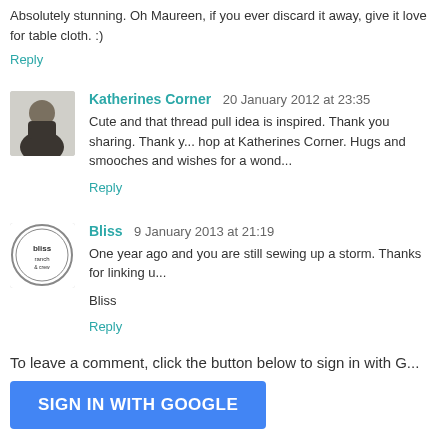Absolutely stunning. Oh Maureen, if you ever discard it away, give it love for table cloth. :)
Reply
Katherines Corner  20 January 2012 at 23:35
Cute and that thread pull idea is inspired. Thank you sharing. Thank you for linking to the hop at Katherines Corner. Hugs and smooches and wishes for a wond...
Reply
Bliss  9 January 2013 at 21:19
One year ago and you are still sewing up a storm. Thanks for linking u...
Bliss
Reply
To leave a comment, click the button below to sign in with G...
SIGN IN WITH GOOGLE